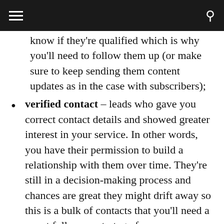≡  🔍
know if they're qualified which is why you'll need to follow them up (or make sure to keep sending them content updates as in the case with subscribers);
verified contact – leads who gave you correct contact details and showed greater interest in your service. In other words, you have their permission to build a relationship with them over time. They're still in a decision-making process and chances are great they might drift away so this is a bulk of contacts that you'll need a smart follow up strategy for;
invalid contact – likewise, a fraction of the contacts in your database might be random people who are not interested in what you have to offer. Some may provide invalid contact details and so you're unable to identify who they are exactly. By defining the status of these contacts as 'invalid', you're still